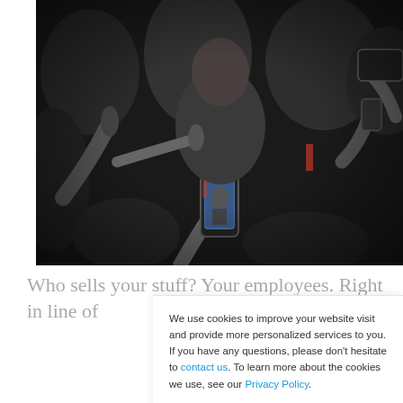[Figure (photo): A crowd of journalists and reporters holding microphones, phones, and cameras surrounds a person (partially visible, older man in dark suit). A phone screen in the foreground shows the scene being filmed. Some people are wearing masks.]
Who sells your stuff? Your employees. Right in line of
We use cookies to improve your website visit and provide more personalized services to you. If you have any questions, please don't hesitate to contact us. To learn more about the cookies we use, see our Privacy Policy.